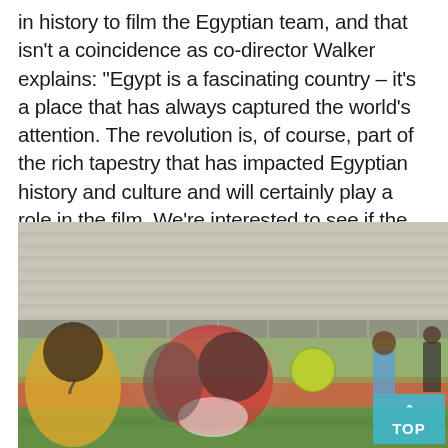in history to film the Egyptian team, and that isn't a coincidence as co-director Walker explains: “Egypt is a fascinating country – it's a place that has always captured the world's attention. The revolution is, of course, part of the rich tapestry that has impacted Egyptian history and culture and will certainly play a role in the film. We’re interested to see if the Pharaohs can unite all of these voices behind the same cause.”
[Figure (photo): A blurred action shot of a football/soccer match in progress inside a stadium. Players in yellow and red-and-white kits are visible in the foreground, with a bright yellow-green ball mid-air. A referee in blue stands in the background. The stadium stands appear largely empty with grey seats. A teal 'TOP' button is overlaid in the bottom-right corner.]